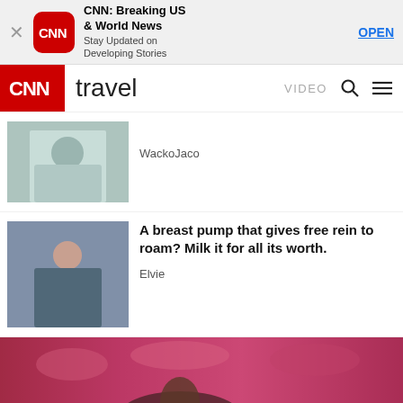[Figure (screenshot): CNN app promotional banner with close button, CNN logo, app title 'CNN: Breaking US & World News', subtitle 'Stay Updated on Developing Stories', and OPEN link]
CNN travel | VIDEO | search | menu
[Figure (photo): Thumbnail image showing a person in a light gray outfit]
WackoJaco
[Figure (photo): Thumbnail image showing a woman in green outfit seated]
A breast pump that gives free rein to roam? Milk it for all its worth.
Elvie
[Figure (photo): Wide image showing a person lying on pink/red tufted upholstery]